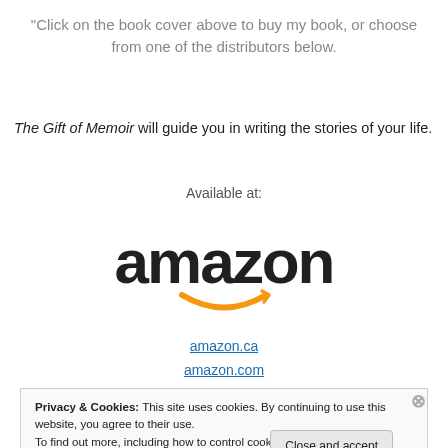“Click on the book cover above to buy my book, or choose from one of the distributors below.
The Gift of Memoir will guide you in writing the stories of your life.
Available at:
[Figure (logo): Amazon logo with orange smile/arrow underneath the black 'amazon' wordmark]
amazon.ca
amazon.com
Privacy & Cookies: This site uses cookies. By continuing to use this website, you agree to their use. To find out more, including how to control cookies, see here: Cookie Policy
Close and accept